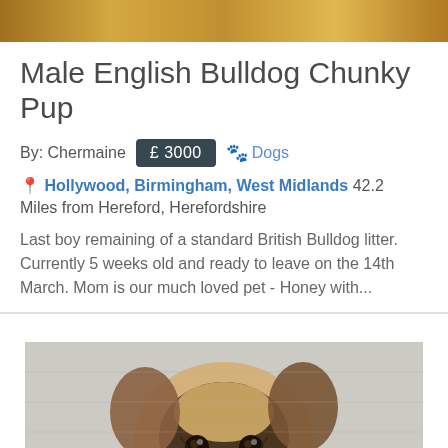[Figure (photo): Top portion of a dog photo, showing warm golden/brown fur tones at the top of the page]
Male English Bulldog Chunky Pup
By: Chermaine  £ 3000  🐾 Dogs
📍 Hollywood, Birmingham, West Midlands 42.2 Miles from Hereford, Herefordshire
Last boy remaining of a standard British Bulldog litter. Currently 5 weeks old and ready to leave on the 14th March. Mom is our much loved pet - Honey with...
[Figure (photo): Close-up photo of a French Bulldog puppy with dark face markings (fawn/cream color) being held by a person's hand, white brick wall in background]